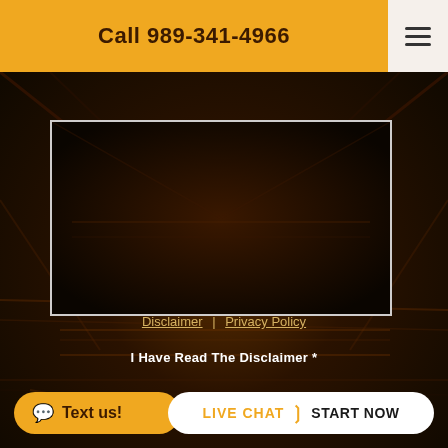Call 989-341-4966
[Figure (photo): Dark interior of an oven viewed from inside, showing oven racks and walls with warm brown tones]
[Figure (screenshot): White-bordered rectangular media box overlay on the oven image]
Disclaimer | Privacy Policy
I Have Read The Disclaimer *
Text us!
LIVE CHAT > START NOW